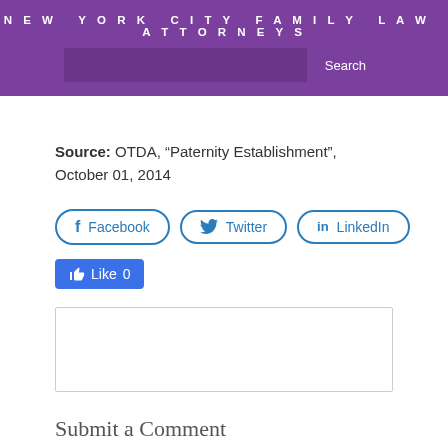NEW YORK CITY FAMILY LAW ATTORNEYS
Source: OTDA, “Paternity Establishment”, October 01, 2014
[Figure (other): Social sharing buttons: Facebook, Twitter, LinkedIn, and a Facebook Like button showing count 0]
[Figure (other): Empty comment text area input box]
Submit a Comment